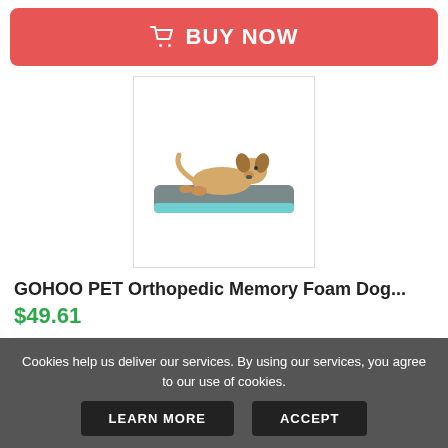BUY NOW
[Figure (photo): Dog lying on a gray orthopedic memory foam dog bed with aqua trim]
GOHOO PET Orthopedic Memory Foam Dog...
$49.61
Buy Now
Used
30 Day(s) 4 h(s)
Worldwide
5 days
Easy Returns
Cookies help us deliver our services. By using our services, you agree to our use of cookies.
LEARN MORE
ACCEPT